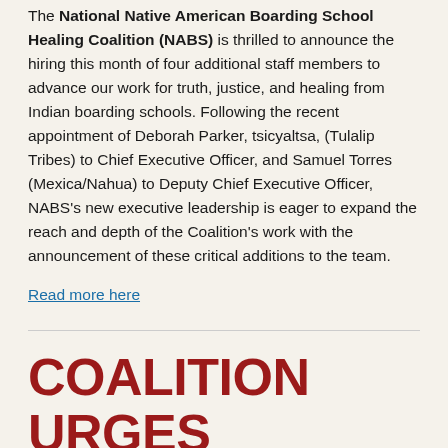The National Native American Boarding School Healing Coalition (NABS) is thrilled to announce the hiring this month of four additional staff members to advance our work for truth, justice, and healing from Indian boarding schools. Following the recent appointment of Deborah Parker, tsicyaltsa, (Tulalip Tribes) to Chief Executive Officer, and Samuel Torres (Mexica/Nahua) to Deputy Chief Executive Officer, NABS's new executive leadership is eager to expand the reach and depth of the Coalition's work with the announcement of these critical additions to the team.
Read more here
COALITION URGES SUPPORT FOR BILL ESTABLISHING A TRUTH